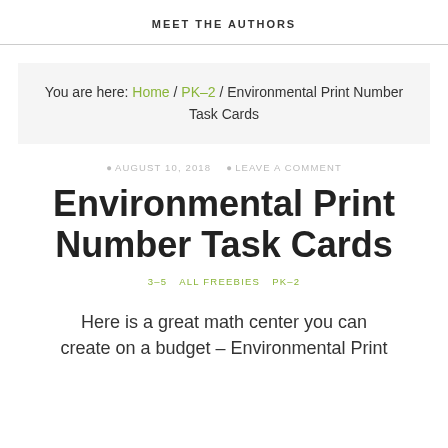MEET THE AUTHORS
You are here: Home / PK-2 / Environmental Print Number Task Cards
AUGUST 10, 2018   LEAVE A COMMENT
Environmental Print Number Task Cards
3-5   ALL FREEBIES   PK-2
Here is a great math center you can create on a budget – Environmental Print